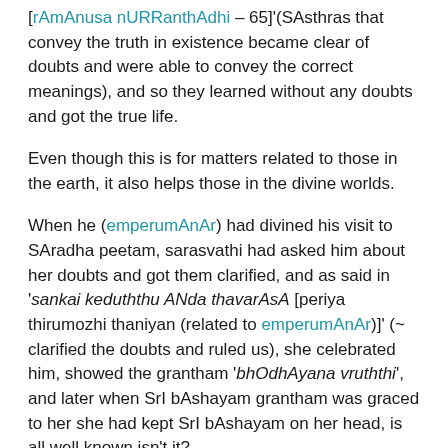[rAmAnusa nURRanthAdhi – 65]'(SAsthras that convey the truth in existence became clear of doubts and were able to convey the correct meanings), and so they learned without any doubts and got the true life.
Even though this is for matters related to those in the earth, it also helps those in the divine worlds.
When he (emperumAnAr) had divined his visit to SAradha peetam, sarasvathi had asked him about her doubts and got them clarified, and as said in 'sankai keduththu ANda thavarAsA [periya thirumozhi thaniyan (related to emperumAnAr)]' (~ clarified the doubts and ruled us), she celebrated him, showed the grantham 'bhOdhAyana vruththi', and later when SrI bAshayam grantham was graced to her she had kept SrI bAshayam on her head, is all well known isn't it?